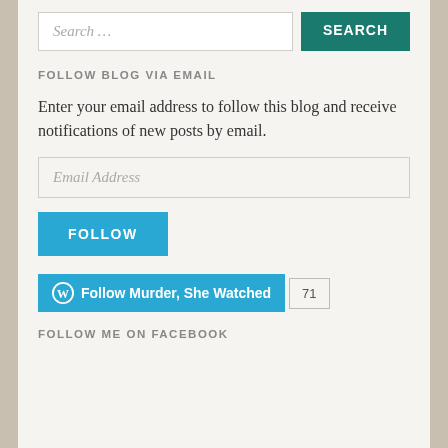[Figure (screenshot): Search input box with placeholder text 'Search ...' and a teal SEARCH button]
FOLLOW BLOG VIA EMAIL
Enter your email address to follow this blog and receive notifications of new posts by email.
[Figure (screenshot): Email Address input field with placeholder text 'Email Address']
[Figure (screenshot): Blue FOLLOW button]
[Figure (screenshot): WordPress Follow Murder, She Watched button with follower count 71]
FOLLOW ME ON FACEBOOK